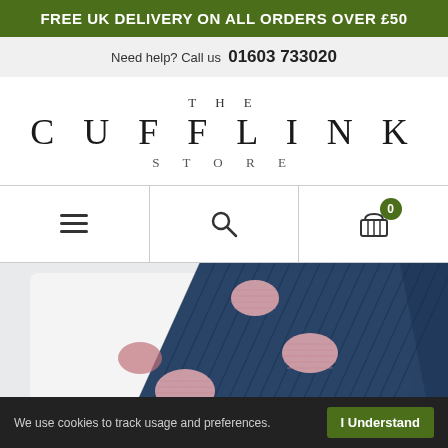FREE UK DELIVERY ON ALL ORDERS OVER £50
Need help? Call us  01603 733020
[Figure (logo): The Cufflink Store logo with serif lettering in three lines: THE, CUFFLINK, STORE]
[Figure (infographic): Navigation bar with hamburger menu icon, search icon, and shopping cart icon with badge showing 0 items]
[Figure (photo): Close-up photo of a navy blue tie with pink polka dots on a white background]
We use cookies to track usage and preferences.
I Understand